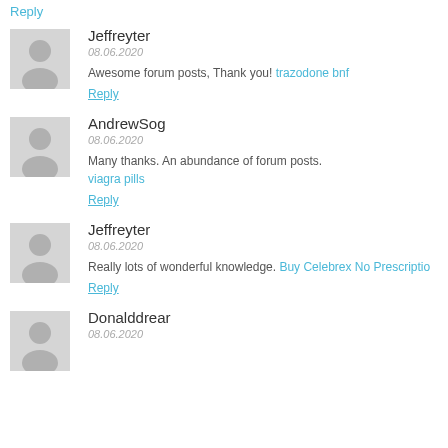Reply (truncated link at top)
Jeffreyter
08.06.2020
Awesome forum posts, Thank you! trazodone bnf
Reply
AndrewSog
08.06.2020
Many thanks. An abundance of forum posts.
viagra pills
Reply
Jeffreyter
08.06.2020
Really lots of wonderful knowledge. Buy Celebrex No Prescription
Reply
Donalddrear
08.06.2020